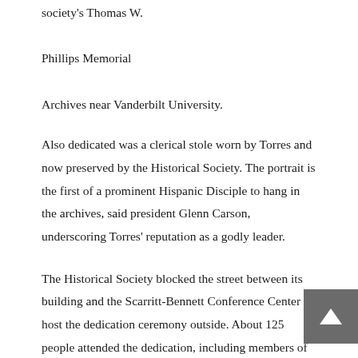society's Thomas W. Phillips Memorial Archives near Vanderbilt University.
Also dedicated was a clerical stole worn by Torres and now preserved by the Historical Society. The portrait is the first of a prominent Hispanic Disciple to hang in the archives, said president Glenn Carson, underscoring Torres' reputation as a godly leader.
The Historical Society blocked the street between its building and the Scarritt-Bennett Conference Center to host the dedication ceremony outside. About 125 people attended the dedication, including members of the Torres family. Guests enjoyed a breakfast prepared by members of  Nashville's Vine Street Christian Church before the ceremony and participated